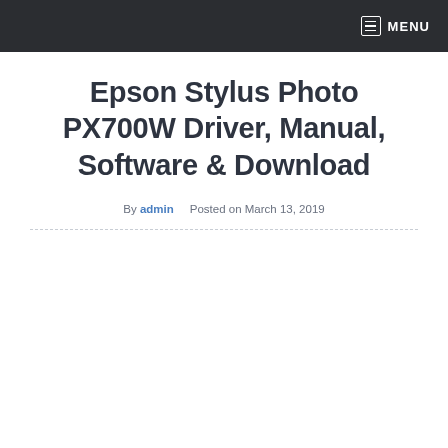MENU
Epson Stylus Photo PX700W Driver, Manual, Software & Download
By admin   Posted on March 13, 2019